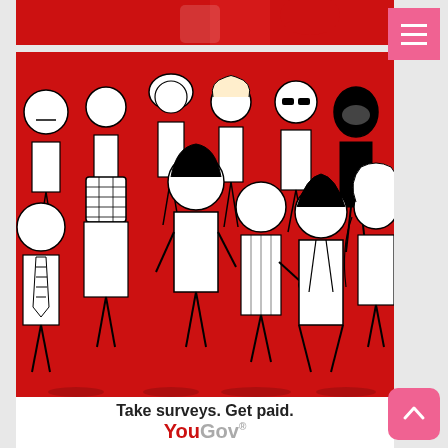[Figure (illustration): Top cropped strip of a YouGov advertisement banner]
[Figure (illustration): YouGov advertisement illustration showing a diverse group of people illustrated in black and white line art style against a red background. The group includes various characters: people in suits, casual wear, a cyclist with helmet, a robot-like figure, and others.]
Take surveys. Get paid.
YouGov®